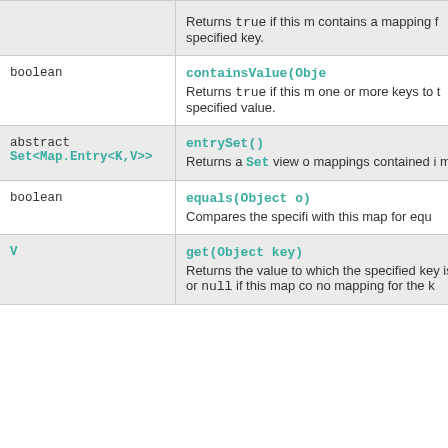| Return Type | Method and Description |
| --- | --- |
|  | Returns true if this map contains a mapping for the specified key. |
| boolean | containsValue(Object ...)
Returns true if this map maps one or more keys to the specified value. |
| abstract Set<Map.Entry<K,V>> | entrySet()
Returns a Set view of the mappings contained in this map. |
| boolean | equals(Object o)
Compares the specified object with this map for equality. |
| V | get(Object key)
Returns the value to which the specified key is mapped, or null if this map contains no mapping for the key. |